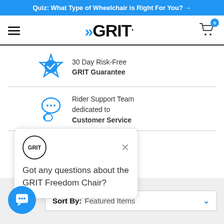Quiz: What Type of Wheelchair is Right For You? →
[Figure (logo): GRIT brand logo with double arrow marks, navigation hamburger menu and shopping cart icon with badge showing 0]
[Figure (illustration): Blue badge/seal icon with checkmark for 30 Day Risk-Free GRIT Guarantee]
30 Day Risk-Free GRIT Guarantee
[Figure (illustration): Blue speech bubble chat icon for Rider Support Team dedicated to Customer Service]
Rider Support Team dedicated to Customer Service
[Figure (screenshot): Chat popup overlay with GRIT circle logo and X close button showing text: Got any questions about the GRIT Freedom Chair?]
Got any questions about the GRIT Freedom Chair?
Sort By: Featured Items